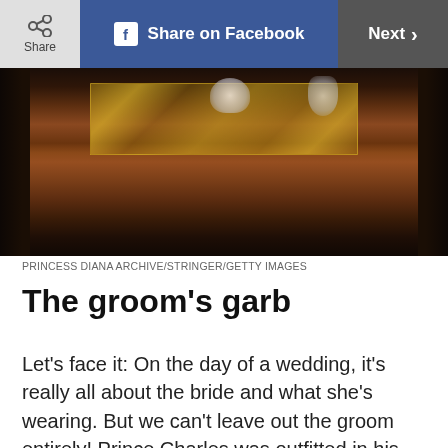Share | Share on Facebook | Next >
[Figure (photo): Close-up photo of ceremonial royal carriage or drum with ornate gold decorations and crown emblems on dark red/maroon background, with figures in dark uniforms visible at edges]
PRINCESS DIANA ARCHIVE/STRINGER/GETTY IMAGES
The groom’s garb
Let’s face it: On the day of a wedding, it’s really all about the bride and what she’s wearing. But we can’t leave out the groom entirely! Prince Charles was outfitted in his full naval commander uniform for the ceremony. Aside from having it pressed and in order, it must have been a breeze getting ready for the big day, unlike the 15 fittings Diana reportedly had with the Emanuels ahead of July 29, 1981. Charles and Diana took separate methods